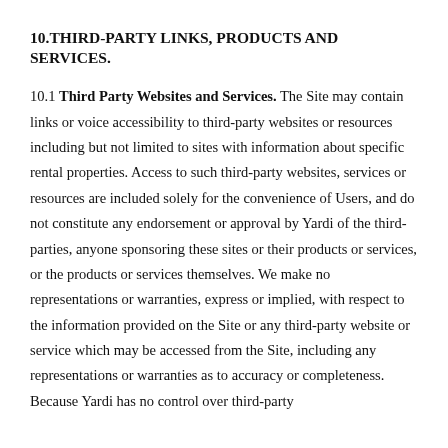10.THIRD-PARTY LINKS, PRODUCTS AND SERVICES.
10.1 Third Party Websites and Services. The Site may contain links or voice accessibility to third-party websites or resources including but not limited to sites with information about specific rental properties. Access to such third-party websites, services or resources are included solely for the convenience of Users, and do not constitute any endorsement or approval by Yardi of the third-parties, anyone sponsoring these sites or their products or services, or the products or services themselves. We make no representations or warranties, express or implied, with respect to the information provided on the Site or any third-party website or service which may be accessed from the Site, including any representations or warranties as to accuracy or completeness. Because Yardi has no control over third-party